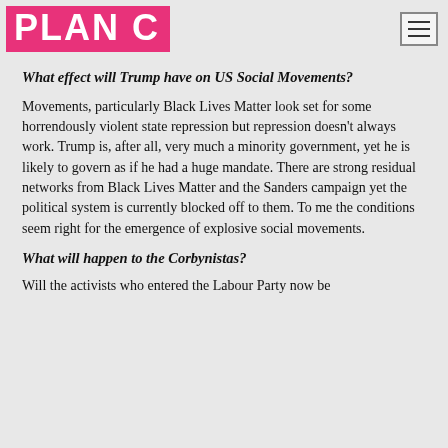PLAN C
What effect will Trump have on US Social Movements?
Movements, particularly Black Lives Matter look set for some horrendously violent state repression but repression doesn't always work. Trump is, after all, very much a minority government, yet he is likely to govern as if he had a huge mandate. There are strong residual networks from Black Lives Matter and the Sanders campaign yet the political system is currently blocked off to them. To me the conditions seem right for the emergence of explosive social movements.
What will happen to the Corbynistas?
Will the activists who entered the Labour Party now be